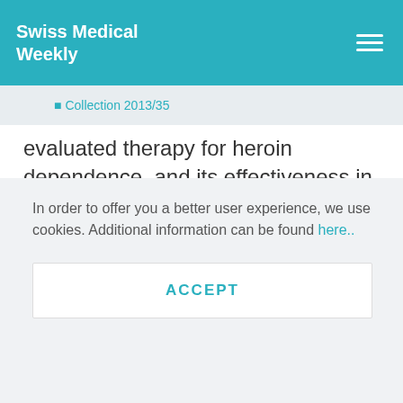Swiss Medical Weekly
Collection 2013/35
evaluated therapy for heroin dependence, and its effectiveness in retaining patients in treatment and in reducing consumption of street-heroin has been demonstrated by a great number of studies [1]. Methadone is also prescribed for the management of pain to many patients in the Americas, Australia and Europe [2]
In order to offer you a better user experience, we use cookies. Additional information can be found here..
ACCEPT